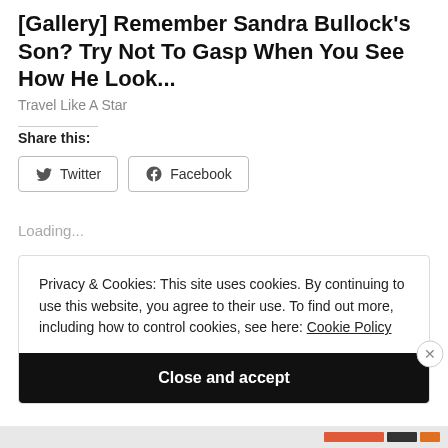[Gallery] Remember Sandra Bullock's Son? Try Not To Gasp When You See How He Look...
Travel Like A Star
Share this:
Twitter
Facebook
Loading...
Privacy & Cookies: This site uses cookies. By continuing to use this website, you agree to their use. To find out more, including how to control cookies, see here: Cookie Policy
Close and accept